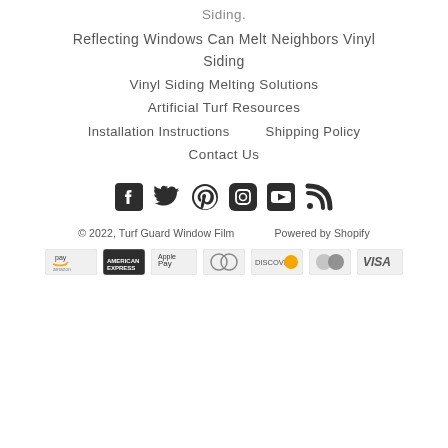Siding.
Reflecting Windows Can Melt Neighbors Vinyl Siding
Vinyl Siding Melting Solutions
Artificial Turf Resources
Installation Instructions
Shipping Policy
Contact Us
[Figure (other): Social media icons: Facebook, Twitter, Pinterest, Instagram, YouTube, RSS]
© 2022, Turf Guard Window Film    Powered by Shopify
[Figure (other): Payment method icons: Amazon Pay, American Express, Apple Pay, Diners Club, Discover, Mastercard, Visa]